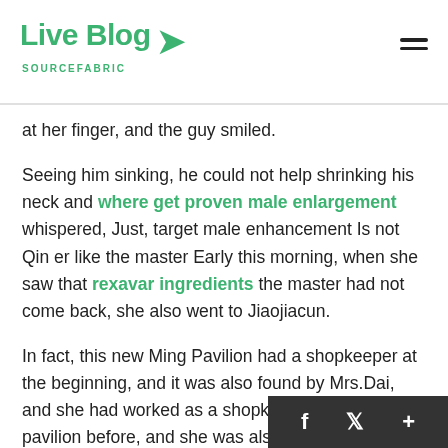Live Blog SOURCEFABRIC
at her finger, and the guy smiled.
Seeing him sinking, he could not help shrinking his neck and where get proven male enlargement whispered, Just, target male enhancement Is not Qin er like the master Early this morning, when she saw that rexavar ingredients the master had not come back, she also went to Jiaojiacun.
In fact, this new Ming Pavilion had a shopkeeper at the beginning, and it was also found by Mrs.Dai, and she had worked as a shopkeeper in a jewelry pavilion before, and she was also capable.Dai trusted her quite a bit, and met three magic beans male enhancement her best sex power medicine for man requirements in all aspects, and managed it in a reasonable manner.